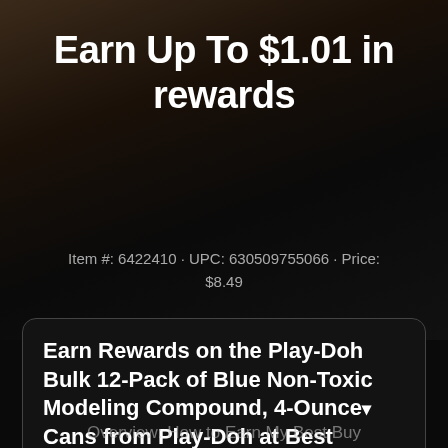Earn Up To $1.01 in rewards
Item #: 6422410 · UPC: 630509755066 · Price: $8.49
Earn Rewards on the Play-Doh Bulk 12-Pack of Blue Non-Toxic Modeling Compound, 4-Ounce ▼ Cans from Play-Doh at Best Buy - ...?
JOIN NOW!
Overview: How to Earn My Best Buy